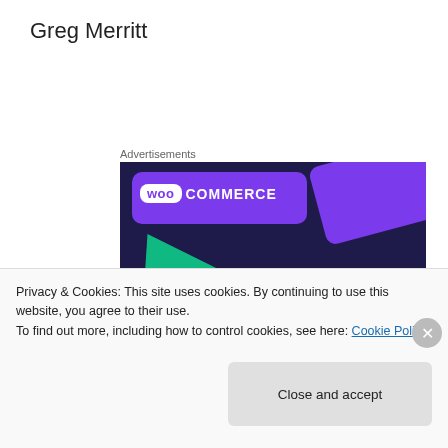Greg Merritt
Advertisements
[Figure (illustration): WooCommerce advertisement banner with dark purple background, teal triangle, cyan circle, purple card with WooCommerce logo, and text 'Turn your hobby into a business in 8 steps']
Privacy & Cookies: This site uses cookies. By continuing to use this website, you agree to their use.
To find out more, including how to control cookies, see here: Cookie Policy
Close and accept